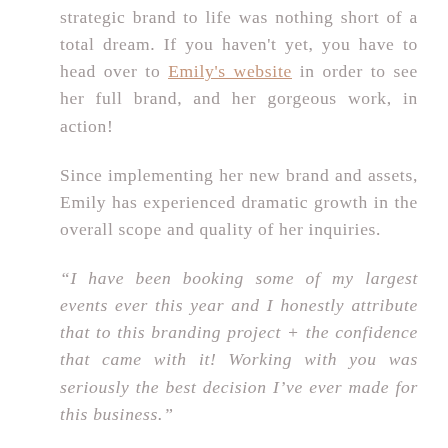strategic brand to life was nothing short of a total dream. If you haven't yet, you have to head over to Emily's website in order to see her full brand, and her gorgeous work, in action!
Since implementing her new brand and assets, Emily has experienced dramatic growth in the overall scope and quality of her inquiries.
“I have been booking some of my largest events ever this year and I honestly attribute that to this branding project + the confidence that came with it! Working with you was seriously the best decision I’ve ever made for this business.”